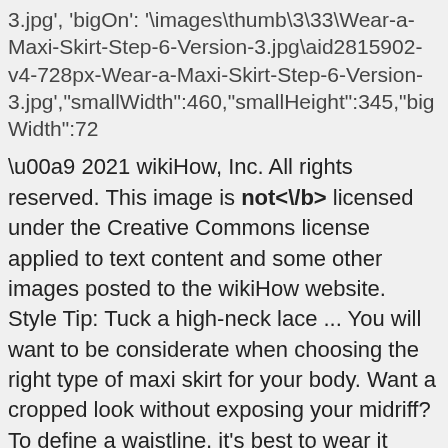3.jpg', 'bigOn': '\images\thumb\3\33\Wear-a-Maxi-Skirt-Step-6-Version-3.jpg\aid2815902-v4-728px-Wear-a-Maxi-Skirt-Step-6-Version-3.jpg',"smallWidth":460,"smallHeight":345,"bigWidth":72
\u00a9 2021 wikiHow, Inc. All rights reserved. This image is not<\/b> licensed under the Creative Commons license applied to text content and some other images posted to the wikiHow website. Style Tip: Tuck a high-neck lace ... You will want to be considerate when choosing the right type of maxi skirt for your body. Want a cropped look without exposing your midriff? To define a waistline, it's best to wear it belted. This image may not be used by other entities without the express written consent of wikiHow, Inc.
<\/p>